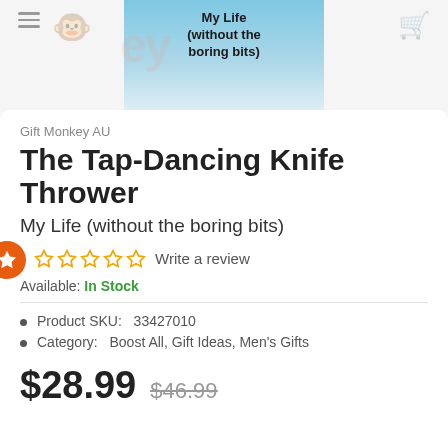[Figure (screenshot): Top portion of a product listing page from Gift Monkey AU showing a book cover image with text 'My Life (without the boring bits)' against a blue background, with a hamburger menu icon and logo elements.]
Gift Monkey AU
The Tap-Dancing Knife Thrower
My Life (without the boring bits)
☆ ☆ ☆ ☆ ☆ Write a review
Available: In Stock
Product SKU:  33427010
Category:  Boost All, Gift Ideas, Men's Gifts
$28.99  $46.99